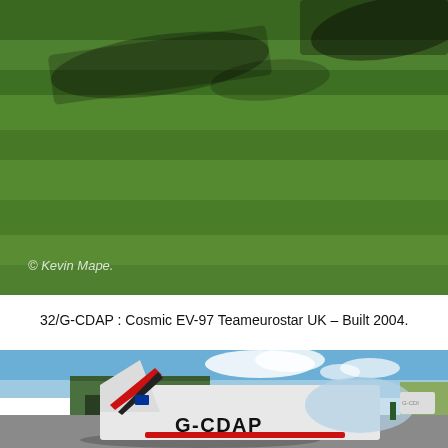[Figure (photo): Aerial/ground view of green grass airfield with shadows of aircraft wings visible from above. Photo credit: © Kevin Mape.]
32/G-CDAP :  Cosmic EV-97 Teameurostar UK – Built 2004.
[Figure (photo): Ground-level photo at an airfield showing the tail section of a white light aircraft with G-CDAP registration, red and black stripes, with hangars and other aircraft in the background.]